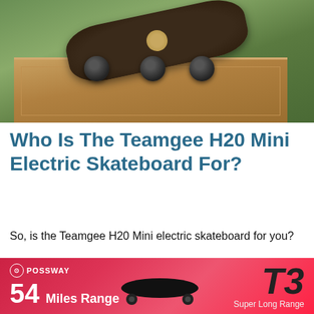[Figure (photo): Electric skateboard (Teamgee H20 Mini) resting on a wooden box outdoors on grass]
Who Is The Teamgee H20 Mini Electric Skateboard For?
So, is the Teamgee H20 Mini electric skateboard for you?
Well, if you want an eboard that you can carve on and really get that concrete-surfing feel while having the option to go on longer cruises, then the H20 Mini is for you.
[Figure (advertisement): Possway advertisement banner: 54 Miles Range, T3 Super Long Range, showing electric skateboard on red gradient background]